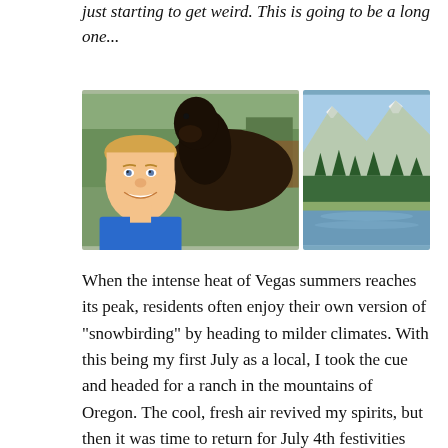just starting to get weird. This is going to be a long one...
[Figure (photo): Two side-by-side photos: left shows a smiling man in a blue shirt taking a selfie with a dark horse outdoors; right shows a scenic mountain landscape with snow-capped peaks, pine trees, and a reflective lake.]
When the intense heat of Vegas summers reaches its peak, residents often enjoy their own version of “snowbirding” by heading to milder climates. With this being my first July as a local, I took the cue and headed for a ranch in the mountains of Oregon. The cool, fresh air revived my spirits, but then it was time to return for July 4th festivities back at home.